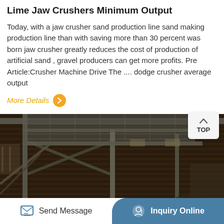Lime Jaw Crushers Minimum Output
Today, with a jaw crusher sand production line sand making production line than with saving more than 30 percent was born jaw crusher greatly reduces the cost of production of artificial sand , gravel producers can get more profits. Pre Article:Crusher Machine Drive The .... dodge crusher average output
More Details
[Figure (photo): Interior of an industrial facility showing steel framework, scaffolding, and conveyor structures. Workers with yellow hard hats visible in the lower portion of the image.]
Send Message | Inquiry Online